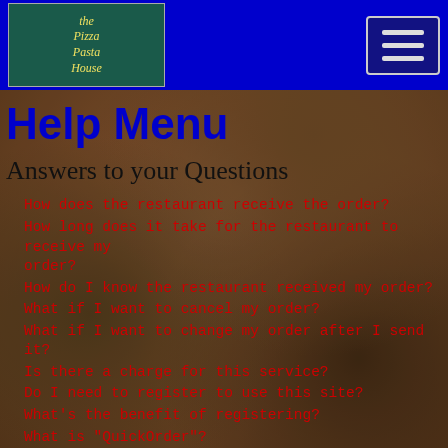the Pizza Pasta House
Help Menu
Answers to your Questions
How does the restaurant receive the order?
How long does it take for the restaurant to receive my order?
How do I know the restaurant received my order?
What if I want to cancel my order?
What if I want to change my order after I send it?
Is there a charge for this service?
Do I need to register to use this site?
What's the benefit of registering?
What is "QuickOrder"?
Can I change my "QuickOrder Settings"?
How do I add a second delivery address or a second credit card?